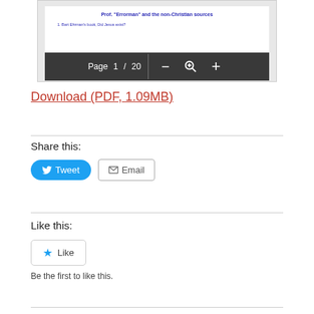[Figure (screenshot): PDF viewer preview showing document titled 'Prof. Errorman and the non-Christian sources' with page navigation toolbar showing Page 1 / 20 and zoom controls]
Download (PDF, 1.09MB)
Share this:
Tweet
Email
Like this:
Like
Be the first to like this.